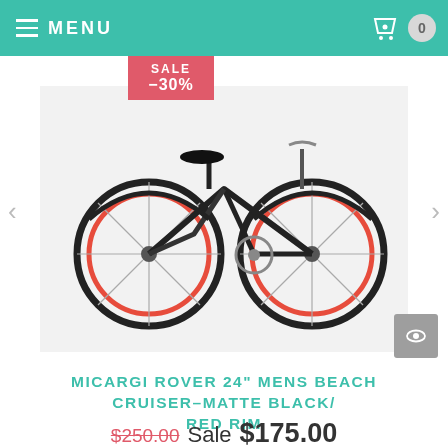MENU
[Figure (photo): Black beach cruiser bicycle with red rims on white background, with SALE -30% badge overlay and navigation arrows]
MICARGI ROVER 24" MENS BEACH CRUISER–MATTE BLACK/ RED RIM
$250.00 Sale $175.00